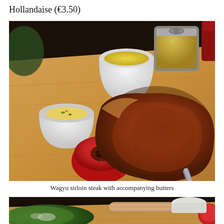Hollandaise (€3.50)
[Figure (photo): A wagyu sirloin steak served on a wooden board with two halved grilled tomatoes, a small white ramekin with herb butter, a white cup of hollandaise sauce, and a glass jar of mustard in the background.]
Wagyu sirloin steak with accompanying butters
[Figure (photo): A partial view of a wooden board with a green leafy side dish and other accompaniments, partially visible at the bottom of the page.]